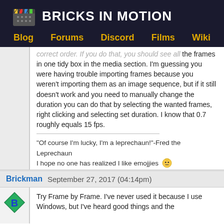BRICKS IN MOTION
Blog | Forums | Discord | Films | Wiki
correct order. If you do that, you should see all the frames in one tidy box in the media section. I'm guessing you were having trouble importing frames because you weren't importing them as an image sequence, but if it still doesn't work and you need to manually change the duration you can do that by selecting the wanted frames, right clicking and selecting set duration. I know that 0.7 roughly equals 15 fps.
"Of course I'm lucky, I'm a leprechaun!"-Fred the Leprechaun
I hope no one has realized I like emojjies 🙂
Brickman  September 27, 2017 (04:14pm)
Try Frame by Frame. I've never used it because I use Windows, but I've heard good things and the